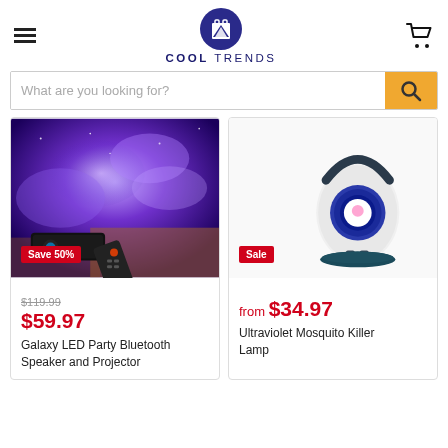[Figure (logo): Cool Trends shopping bag logo with navy blue circle and shopping bag icon]
COOL TRENDS
[Figure (other): Search bar with placeholder 'What are you looking for?' and orange search button]
[Figure (photo): Galaxy LED Party Bluetooth Speaker and Projector showing purple galaxy projection on ceiling with black projector unit and remote control. Badge: Save 50%. Price: $59.97 (was $119.99)]
Save 50%
$119.99
$59.97
Galaxy LED Party Bluetooth Speaker and Projector
[Figure (photo): Ultraviolet Mosquito Killer Lamp - white cylindrical device with dark handle and blue UV ring inside. Badge: Sale. Price: from $34.97]
Sale
from $34.97
Ultraviolet Mosquito Killer Lamp